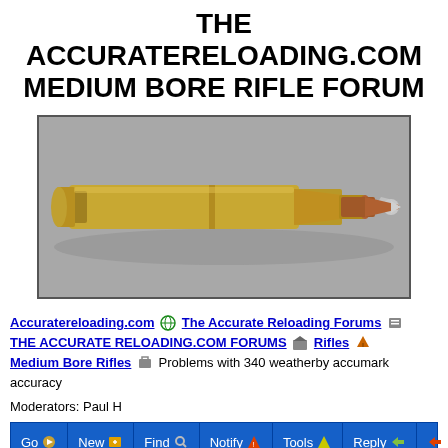THE ACCURATERELOADING.COM MEDIUM BORE RIFLE FORUM
[Figure (photo): A large rifle cartridge (bullet) shown horizontally against a gray background. The cartridge has a brass case and a copper/silver tipped projectile pointing to the right.]
Accuratereloading.com ⊕ The Accurate Reloading Forums ⓕ THE ACCURATE RELOADING FORUMS ⓡ Rifles 🏠 Medium Bore Rifles ⓜ Problems with 340 weatherby accumark accuracy
Moderators: Paul H
[Figure (screenshot): Forum toolbar with buttons: Go, New, Find, Notify, Tools, Reply, and a small icon button. Blue background with white text.]
Problems with 340 weatherby accumark accuracy
Login/Join